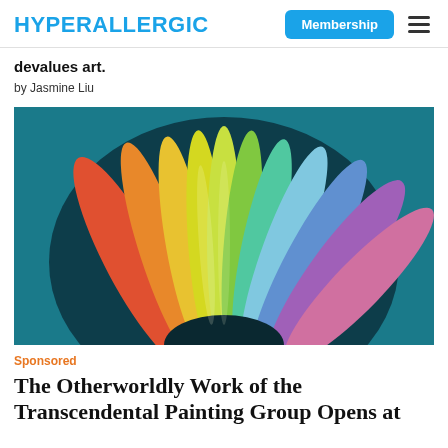HYPERALLERGIC
devalues art.
by Jasmine Liu
[Figure (photo): Close-up photograph of colorful leaf-like forms radiating outward in rainbow colors (red, orange, yellow, green, blue, purple) against a dark teal oval background, resembling a cross-section of a flower or plant.]
Sponsored
The Otherworldly Work of the Transcendental Painting Group Opens at